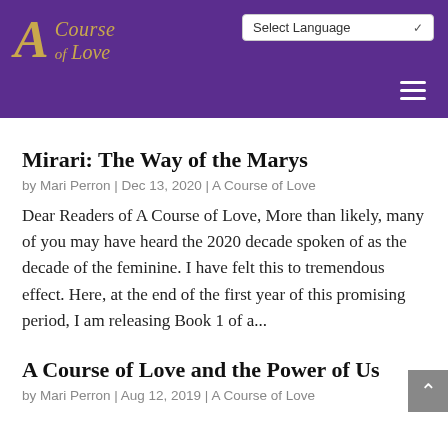A Course of Love — Select Language
Mirari: The Way of the Marys
by Mari Perron | Dec 13, 2020 | A Course of Love
Dear Readers of A Course of Love, More than likely, many of you may have heard the 2020 decade spoken of as the decade of the feminine. I have felt this to tremendous effect. Here, at the end of the first year of this promising period, I am releasing Book 1 of a...
A Course of Love and the Power of Us
by Mari Perron | Aug 12, 2019 | A Course of Love